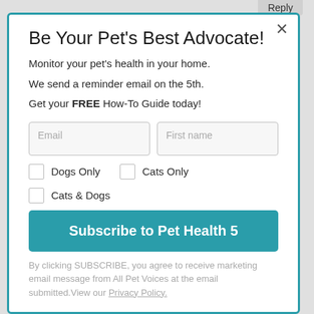Reply
Be Your Pet's Best Advocate!
Monitor your pet's health in your home.
We send a reminder email on the 5th.
Get your FREE How-To Guide today!
Email
First name
Dogs Only
Cats Only
Cats & Dogs
Subscribe to Pet Health 5
By clicking SUBSCRIBE, you agree to receive marketing email message from All Pet Voices at the email submitted.View our Privacy Policy.